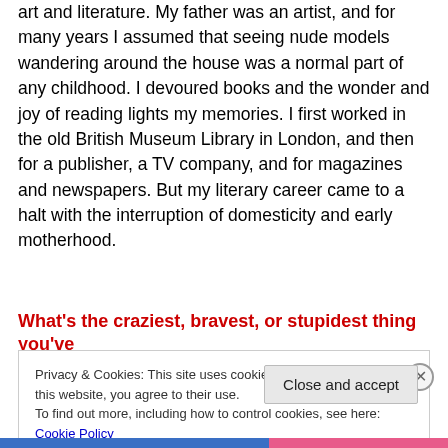art and literature. My father was an artist, and for many years I assumed that seeing nude models wandering around the house was a normal part of any childhood. I devoured books and the wonder and joy of reading lights my memories. I first worked in the old British Museum Library in London, and then for a publisher, a TV company, and for magazines and newspapers. But my literary career came to a halt with the interruption of domesticity and early motherhood.
What's the craziest, bravest, or stupidest thing you've
Privacy & Cookies: This site uses cookies. By continuing to use this website, you agree to their use.
To find out more, including how to control cookies, see here: Cookie Policy
Close and accept